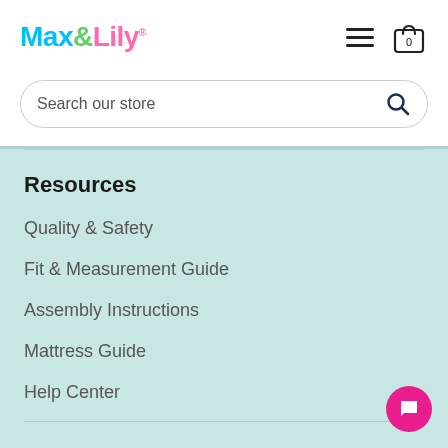[Figure (logo): Max&Lily logo in colorful text — Max in cyan, & in green, Lily in pink]
[Figure (other): Hamburger menu icon (three horizontal lines) and shopping bag icon with 0]
Search our store
Resources
Quality & Safety
Fit & Measurement Guide
Assembly Instructions
Mattress Guide
Help Center
Customer Service
Affirm Financing